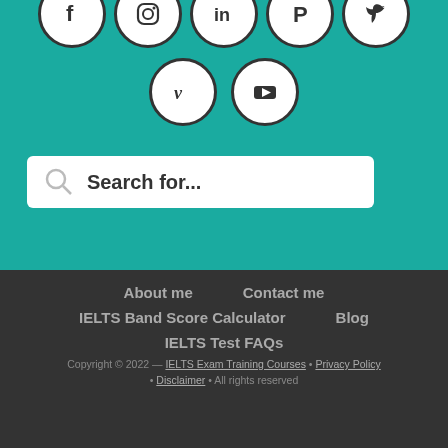[Figure (illustration): Social media icon circles (row 1: Facebook, Instagram, LinkedIn, Pinterest, Twitter; row 2: Vimeo, YouTube) on teal background]
Search for...
About me   Contact me   IELTS Band Score Calculator   Blog   IELTS Test FAQs   Copyright © 2022 — IELTS Exam Training Courses • Privacy Policy • Disclaimer • All rights reserved